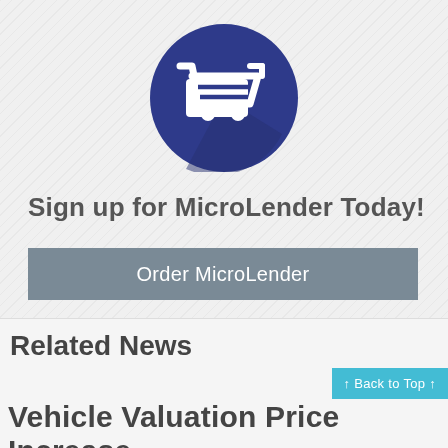[Figure (illustration): Dark blue circle with white shopping cart icon in the center, on a diagonal hatched gray background]
Sign up for MicroLender Today!
Order MicroLender
Related News
↑ Back to Top ↑
Vehicle Valuation Price Increase